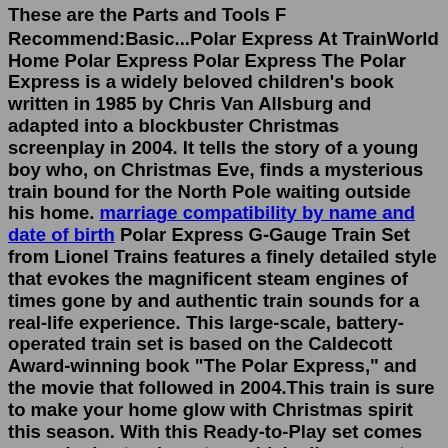These are the Parts and Tools F
Recommend:Basic...Polar Express At TrainWorld Home Polar Express Polar Express The Polar Express is a widely beloved children's book written in 1985 by Chris Van Allsburg and adapted into a blockbuster Christmas screenplay in 2004. It tells the story of a young boy who, on Christmas Eve, finds a mysterious train bound for the North Pole waiting outside his home. marriage compatibility by name and date of birth Polar Express G-Gauge Train Set from Lionel Trains features a finely detailed style that evokes the magnificent steam engines of times gone by and authentic train sounds for a real-life experience. This large-scale, battery-operated train set is based on the Caldecott Award-winning book "The Polar Express," and the movie that followed in 2004.This train is sure to make your home glow with Christmas spirit this season. With this Ready-to-Play set comes an exclusive track system which allows you to create; a circle, a rectangle or an oval layout. As this track system is exclusive to Ready-to-Play set, it is not